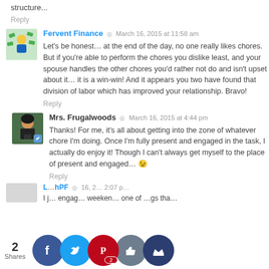structure...
Reply
Fervent Finance  ◎  March 16, 2015 at 11:58 am
Let's be honest... at the end of the day, no one really likes chores. But if you're able to perform the chores you dislike least, and your spouse handles the other chores you'd rather not do and isn't upset about it... it is a win-win! And it appears you two have found that division of labor which has improved your relationship. Bravo!
Reply
Mrs. Frugalwoods  ◎  March 16, 2015 at 4:44 pm
Thanks! For me, it's all about getting into the zone of whatever chore I'm doing. Once I'm fully present and engaged in the task, I actually do enjoy it! Though I can't always get myself to the place of present and engaged... 😉
Reply
2 Shares